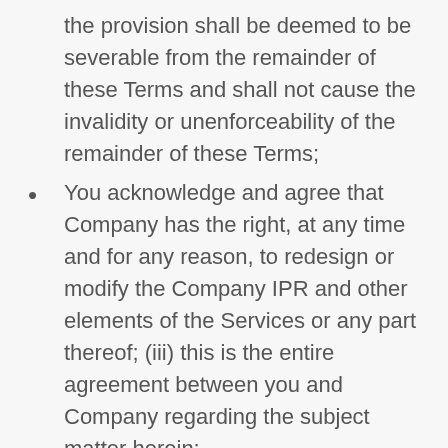the provision shall be deemed to be severable from the remainder of these Terms and shall not cause the invalidity or unenforceability of the remainder of these Terms;
You acknowledge and agree that Company has the right, at any time and for any reason, to redesign or modify the Company IPR and other elements of the Services or any part thereof; (iii) this is the entire agreement between you and Company regarding the subject matter herein;
Company may assign these Terms, in whole or in part, in its sole discretion.